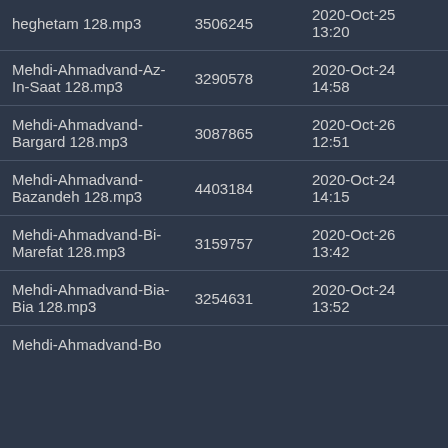| Name | Size | Date |
| --- | --- | --- |
| heghetam 128.mp3 | 3506245 | 2020-Oct-25 13:20 |
| Mehdi-Ahmadvand-Az-In-Saat 128.mp3 | 3290578 | 2020-Oct-24 14:58 |
| Mehdi-Ahmadvand-Bargard 128.mp3 | 3087865 | 2020-Oct-26 12:51 |
| Mehdi-Ahmadvand-Bazandeh 128.mp3 | 4403184 | 2020-Oct-24 14:15 |
| Mehdi-Ahmadvand-Bi-Marefat 128.mp3 | 3159757 | 2020-Oct-26 13:42 |
| Mehdi-Ahmadvand-Bia-Bia 128.mp3 | 3254631 | 2020-Oct-24 13:52 |
| Mehdi-Ahmadvand-Bo... |  |  |